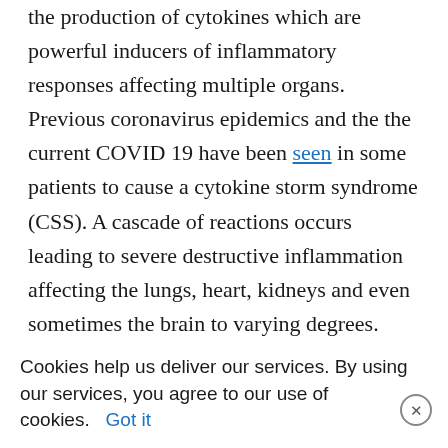the production of cytokines which are powerful inducers of inflammatory responses affecting multiple organs. Previous coronavirus epidemics and the the current COVID 19 have been seen in some patients to cause a cytokine storm syndrome (CSS). A cascade of reactions occurs leading to severe destructive inflammation affecting the lungs, heart, kidneys and even sometimes the brain to varying degrees. Organ failure, hemodynamic instability, and ultimately death can occur. The other reaction is to stimulate interferon beta which causes macrophages to engulf antigens (invaders or under some circumstance human ) and activates a form of T-Cells called Natural Killers.
Cookies help us deliver our services. By using our services, you agree to our use of cookies. Got it